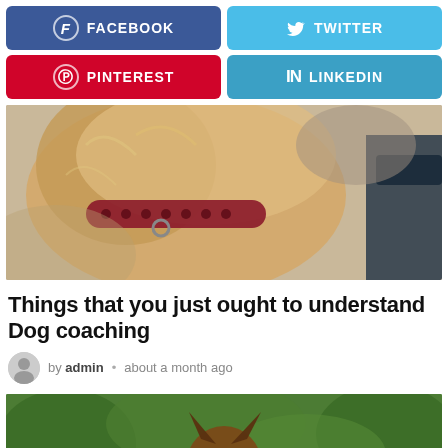[Figure (infographic): Social media share buttons: Facebook (blue), Twitter (light blue), Pinterest (red), LinkedIn (blue)]
[Figure (photo): Close-up photo of a golden dog wearing a red polka-dot collar, blurred background]
Things that you just ought to understand Dog coaching
by admin • about a month ago
[Figure (photo): A German Shepherd dog standing outdoors holding a large stick/branch in its mouth, green trees in background]